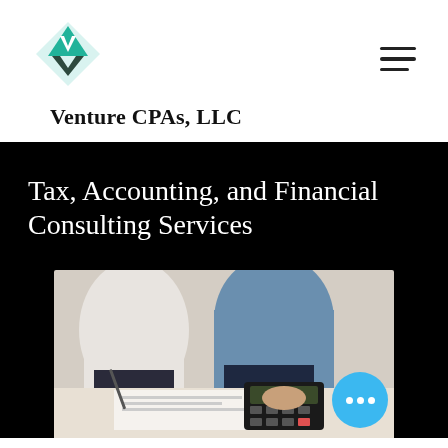[Figure (logo): Venture CPAs LLC logo: teal geometric star/diamond shape with a V inside]
Venture CPAs, LLC
Tax, Accounting, and Financial Consulting Services
[Figure (photo): Two people at a desk, one using a calculator and the other writing with a pen, financial documents in front of them]